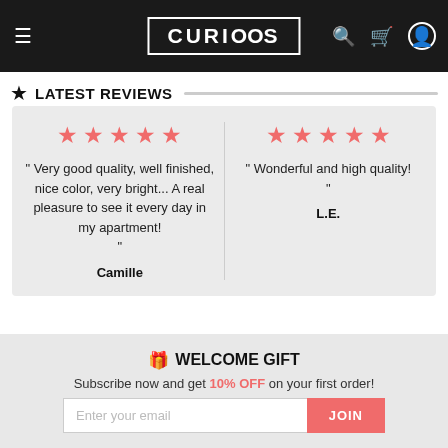CURIOSS — navigation with menu, logo, search, cart, account icons
★ LATEST REVIEWS
" Very good quality, well finished, nice color, very bright... A real pleasure to see it every day in my apartment! " — Camille (5 stars)
" Wonderful and high quality! " — L.E. (5 stars)
🎁 WELCOME GIFT
Subscribe now and get 10% OFF on your first order!
Enter your email — JOIN